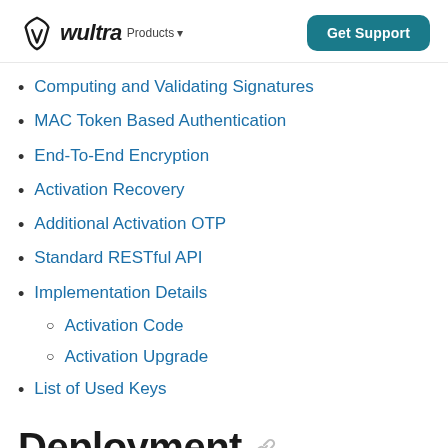wultra Products — Get Support
Computing and Validating Signatures
MAC Token Based Authentication
End-To-End Encryption
Activation Recovery
Additional Activation OTP
Standard RESTful API
Implementation Details
Activation Code
Activation Upgrade
List of Used Keys
Deployment